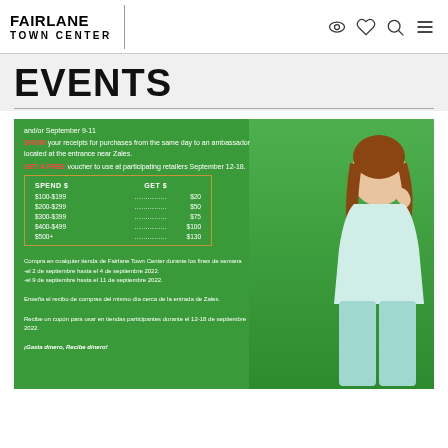FAIRLANE TOWN CENTER
EVENTS
[Figure (photo): Green promotional banner for Fairlane Town Center spending event with a woman in mint green outfit. Text shows spend/get voucher tiers: $100-$199=$20, $200-$299=$50, $300-$399=$75, $400-$499=$100, $500+=$130. Spanish translation text at bottom.]